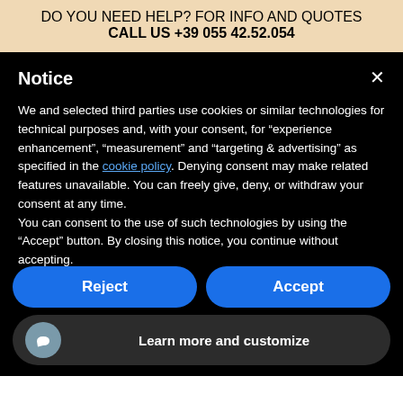DO YOU NEED HELP? FOR INFO AND QUOTES
CALL US +39 055 42.52.054
Notice
We and selected third parties use cookies or similar technologies for technical purposes and, with your consent, for “experience enhancement”, “measurement” and “targeting & advertising” as specified in the cookie policy. Denying consent may make related features unavailable. You can freely give, deny, or withdraw your consent at any time.
You can consent to the use of such technologies by using the “Accept” button. By closing this notice, you continue without accepting.
Reject
Accept
Learn more and customize